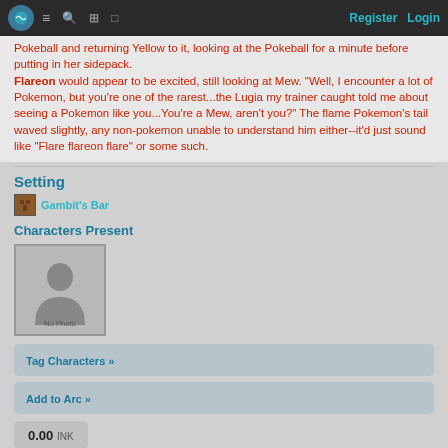Register  Login
Pokeball and returning Yellow to it, looking at the Pokeball for a minute before putting in her sidepack. Flareon would appear to be excited, still looking at Mew. "Well, I encounter a lot of Pokemon, but you're one of the rarest...the Lugia my trainer caught told me about seeing a Pokemon like you...You're a Mew, aren't you?" The flame Pokemon's tail waved slightly, any non-pokemon unable to understand him either--it'd just sound like "Flare flareon flare" or some such.
Setting
Gambit's Bar
Characters Present
[Figure (photo): No photo placeholder silhouette image]
Tag Characters »
Add to Arc »
0.00 INK
#12 years ago as written by LightningxAlchemist